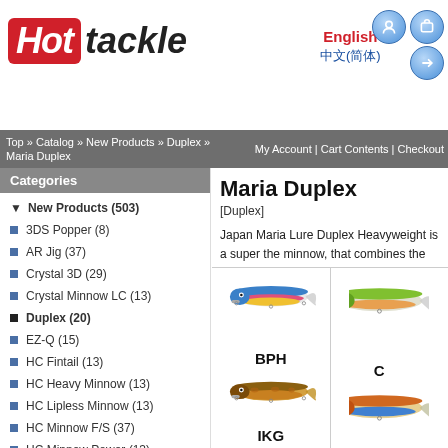Hot tackle | English | 中文(简体)
Top » Catalog » New Products » Duplex » Maria Duplex | My Account | Cart Contents | Checkout
New Products (503)
3DS Popper (8)
AR Jig (37)
Crystal 3D (29)
Crystal Minnow LC (13)
Duplex (20)
EZ-Q (15)
HC Fintail (13)
HC Heavy Minnow (13)
HC Lipless Minnow (13)
HC Minnow F/S (37)
HC Minnow Power (13)
Jigger Light (9)
L Minnow HW (29)
Loaded (31)
Maria (22)
Meiho (51)
Mucho (37)
Nories (13)
Maria Duplex
[Duplex]
Japan Maria Lure Duplex Heavyweight is a super the minnow, that combines the average distance o the distance and ultra-fast retrieve of high specifo in the minnow can not swim The first step is to co job done reliably.
[Figure (photo): Fishing lures labeled BPH and IKG shown in two cells]